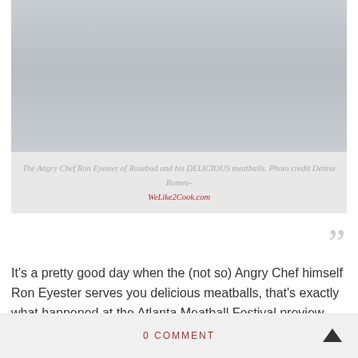[Figure (photo): Person holding a bowl of meatballs, wearing light blue/gray clothing, viewed from mid-chest down]
The Angry Chef Ron Eyester of Rosebud and his DELICIOUS meatballs. Photo credit Denise Romeo- WeLike2Cook.com
It's a pretty good day when the (not so) Angry Chef himself Ron Eyester serves you delicious meatballs, that's exactly what happened at the Atlanta Meatball Festival preview party. (more...)
0 COMMENT